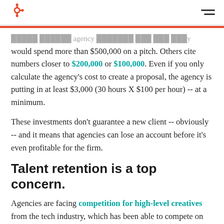HubSpot logo and navigation
would spend more than $500,000 on a pitch. Others cite numbers closer to $200,000 or $100,000. Even if you only calculate the agency's cost to create a proposal, the agency is putting in at least $3,000 (30 hours X $100 per hour) -- at a minimum.
These investments don't guarantee a new client -- obviously -- and it means that agencies can lose an account before it's even profitable for the firm.
Talent retention is a top concern.
Agencies are facing competition for high-level creatives from the tech industry, which has been able to compete on flexibility and salaries in a client-free